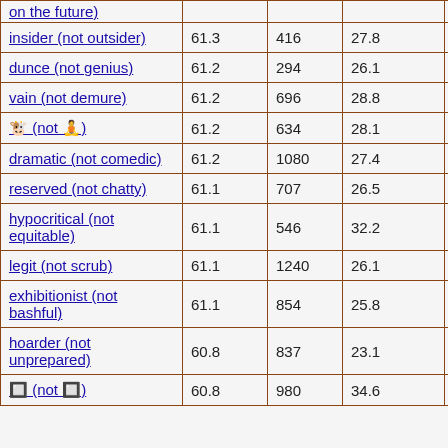| on the future) |  |  |  |  |
| insider (not outsider) | 61.3 | 416 | 27.8 | 15 |
| dunce (not genius) | 61.2 | 294 | 26.1 | 28 |
| vain (not demure) | 61.2 | 696 | 28.8 | 22 |
| 🐮 (not 🧘) | 61.2 | 634 | 28.1 | 18 |
| dramatic (not comedic) | 61.2 | 1080 | 27.4 | 26 |
| reserved (not chatty) | 61.1 | 707 | 26.5 | 28 |
| hypocritical (not equitable) | 61.1 | 546 | 32.2 | 19 |
| legit (not scrub) | 61.1 | 1240 | 26.1 | 20 |
| exhibitionist (not bashful) | 61.1 | 854 | 25.8 | 19 |
| hoarder (not unprepared) | 60.8 | 837 | 23.1 | 23 |
| 🔲 (not 🔲) | 60.8 | 980 | 34.6 | 25 |